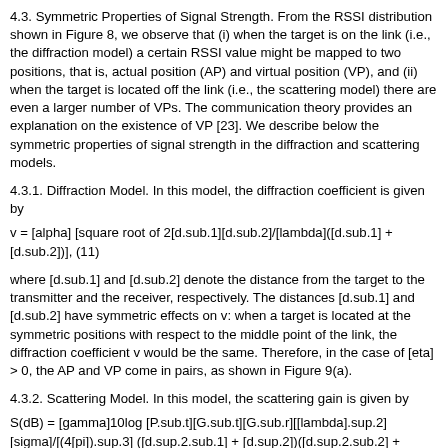4.3. Symmetric Properties of Signal Strength. From the RSSI distribution shown in Figure 8, we observe that (i) when the target is on the link (i.e., the diffraction model) a certain RSSI value might be mapped to two positions, that is, actual position (AP) and virtual position (VP), and (ii) when the target is located off the link (i.e., the scattering model) there are even a larger number of VPs. The communication theory provides an explanation on the existence of VP [23]. We describe below the symmetric properties of signal strength in the diffraction and scattering models.
4.3.1. Diffraction Model. In this model, the diffraction coefficient is given by
where [d.sub.1] and [d.sub.2] denote the distance from the target to the transmitter and the receiver, respectively. The distances [d.sub.1] and [d.sub.2] have symmetric effects on v: when a target is located at the symmetric positions with respect to the middle point of the link, the diffraction coefficient v would be the same. Therefore, in the case of [eta] > 0, the AP and VP come in pairs, as shown in Figure 9(a).
4.3.2. Scattering Model. In this model, the scattering gain is given by
where d denotes the perpendicular distance from the target to the influenced communication link, [G.sub.t] denotes the transmit antenna gain, and [G.sub.r] denotes the receive antenna gain. The parameters